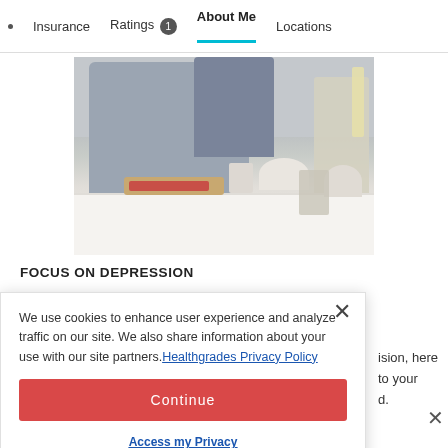Insurance  Ratings 1  About Me  Locations
[Figure (photo): Two people preparing food at a kitchen counter, chopping vegetables on a cutting board with bowls and kitchen items around them.]
FOCUS ON DEPRESSION
We use cookies to enhance user experience and analyze traffic on our site. We also share information about your use with our site partners. Healthgrades Privacy Policy
Continue
Access my Privacy Preferences